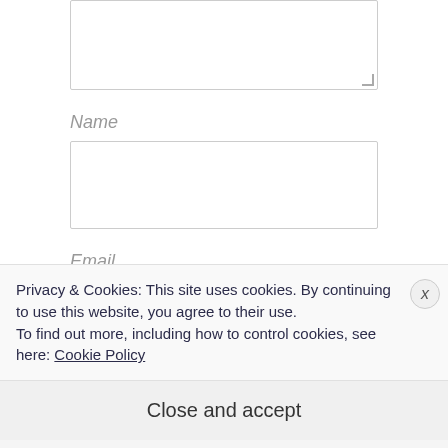[Figure (screenshot): A web form textarea input box (top portion visible) with resize handle at bottom right]
Name
[Figure (screenshot): A web form text input box labeled Name]
Email
[Figure (screenshot): A web form text input box labeled Email (partially visible)]
Privacy & Cookies: This site uses cookies. By continuing to use this website, you agree to their use.
To find out more, including how to control cookies, see here: Cookie Policy
Close and accept